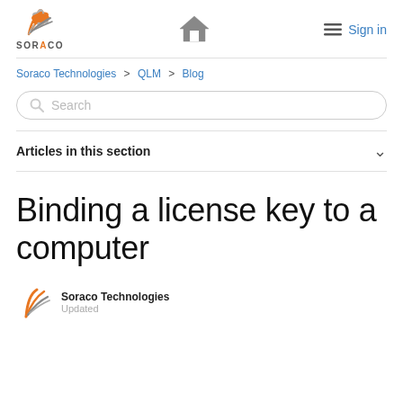SORACO | Home | Sign in
Soraco Technologies > QLM > Blog
Search
Articles in this section
Binding a license key to a computer
Soraco Technologies
Updated